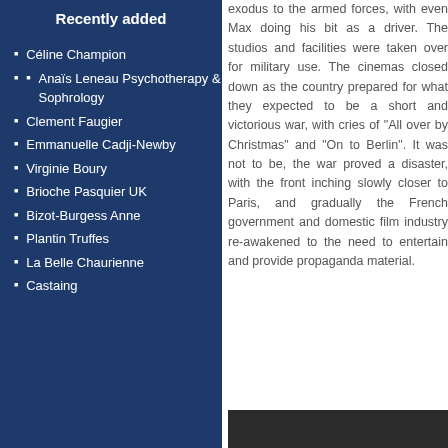Recently added
Céline Champion
Anaïs Leneau Psychotherapy & Sophrology
Clement Faugier
Emmanuelle Cadji-Newby
Virginie Boury
Brioche Pasquier UK
Bizot-Burgess Anne
Plantin Truffes
La Belle Chaurienne
Castaing
exodus to the armed forces, with even Max doing his bit as a driver. The studios and facilities were taken over for military use. The cinemas closed down as the country prepared for what they expected to be a short and victorious war, with cries of "All over by Christmas" and "On to Berlin". It was not to be, the war proved a disaster, with the front inching slowly closer to Paris, and gradually the French government and domestic film industry re-awakened to the need to entertain and provide propaganda material.
[Figure (screenshot): Video unavailable error screen. Text reads: 'Video unavailable. This video is no longer available because the account associated wi...']